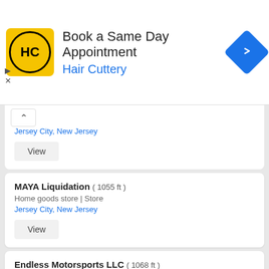[Figure (screenshot): Hair Cuttery advertisement banner with yellow logo, text 'Book a Same Day Appointment' and 'Hair Cuttery', and a blue navigation icon]
Jersey City, New Jersey
View
MAYA Liquidation ( 1055 ft )
Home goods store | Store
Jersey City, New Jersey
View
Endless Motorsports LLC ( 1068 ft )
Store
Jersey City, New Jersey
View
Triple Tires ( 1070 ft )